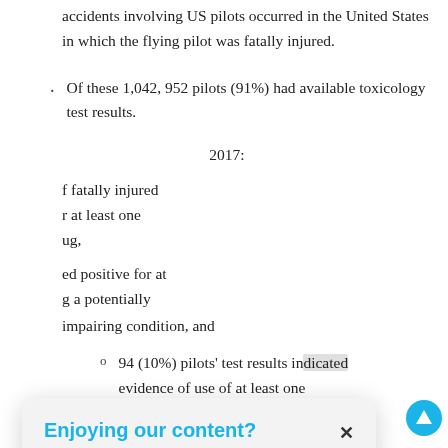Between 2013 and 2017, 1,042 aviation accidents involving US pilots occurred in the United States in which the flying pilot was fatally injured.
Of these 1,042, 952 pilots (91%) had available toxicology test results.
...2017:
...f fatally injured ...r at least one ...ug,
...ed positive for at ...g a potentially impairing condition, and
94 (10%) pilots' test results indicated evidence of use of at least one
[Figure (other): Modal popup overlay: 'Enjoying our content?' with text 'PPS is proud to help protect the flight activities of over 72,000 (as well as producing great content like this!)' and a 'TELL ME MORE >' call to action link in orange, with a close X button.]